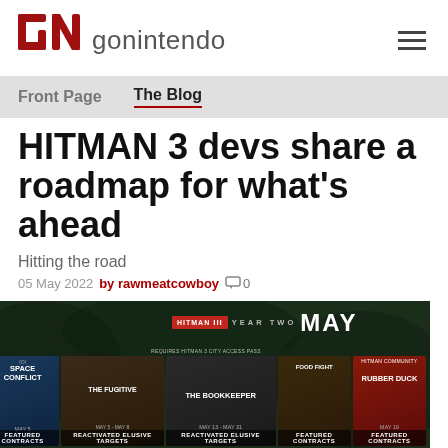[Figure (logo): GoNintendo logo with red GN letters and gray gonintendo text]
Front Page   The Blog
HITMAN 3 devs share a roadmap for what's ahead
Hitting the road
05 May 2022   by rawmeatcowboy   0
[Figure (screenshot): HITMAN 3 Year Two May roadmap showing game content cards including Space Conflict, The Fugitive, The Bookkeeper, Food Fight, Rubber Duck, The Yellow (suit), The Ducky Gun, and May Patch]